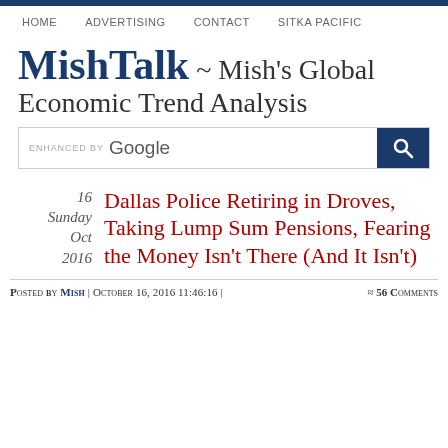HOME | ADVERTISING | CONTACT | SITKA PACIFIC
MishTalk ~ Mish's Global Economic Trend Analysis
[Figure (other): Google search bar with search button]
16
Sunday
Oct
2016
Dallas Police Retiring in Droves, Taking Lump Sum Pensions, Fearing the Money Isn't There (And It Isn't)
Posted by Mish | October 16, 2016 11:46:16 | ≈ 56 Comments